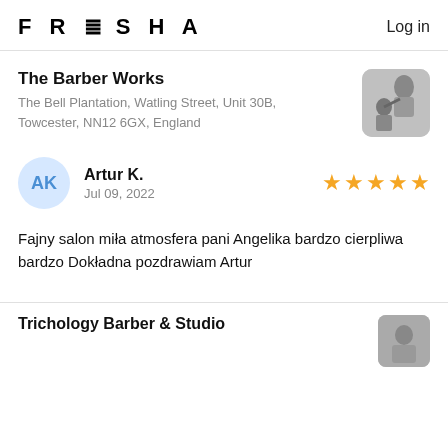FRESHA   Log in
The Barber Works
The Bell Plantation, Watling Street, Unit 30B, Towcester, NN12 6GX, England
[Figure (photo): Black and white photo of a barber cutting a customer's hair]
[Figure (illustration): Avatar circle with initials AK in blue]
Artur K.
Jul 09, 2022
[Figure (other): Five gold/yellow stars rating]
Fajny salon miła atmosfera pani Angelika bardzo cierpliwa bardzo Dokładna pozdrawiam Artur
Trichology Barber & Studio